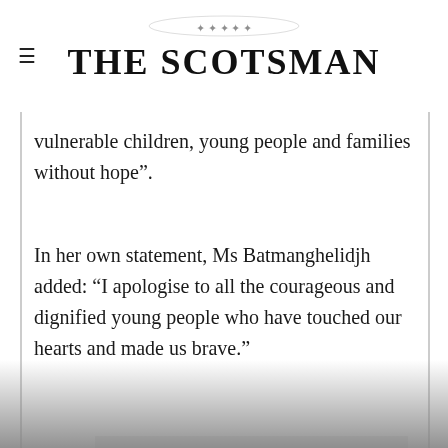THE SCOTSMAN
vulnerable children, young people and families without hope”.
In her own statement, Ms Batmanghelidjh added: “I apologise to all the courageous and dignified young people who have touched our hearts and made us brave.”
Advertisement
The organisation works with 36,000 children and young people, and officials, charities and councils have been in discussions preparing for the impact the closure could have.